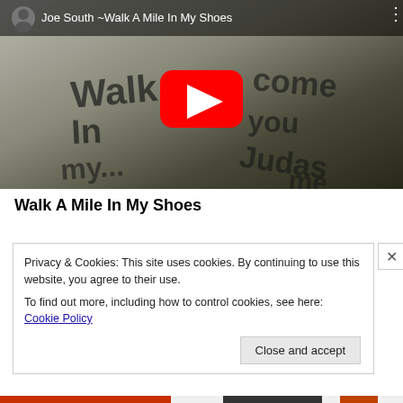[Figure (screenshot): YouTube embedded video player showing 'Joe South ~Walk A Mile In My Shoes'. The thumbnail shows a black-and-white image with handwritten graffiti text reading 'Walk In' and 'Judas me'. A red YouTube play button is centered on the video. The video title bar shows the channel avatar and title text.]
Walk A Mile In My Shoes
Privacy & Cookies: This site uses cookies. By continuing to use this website, you agree to their use.
To find out more, including how to control cookies, see here: Cookie Policy